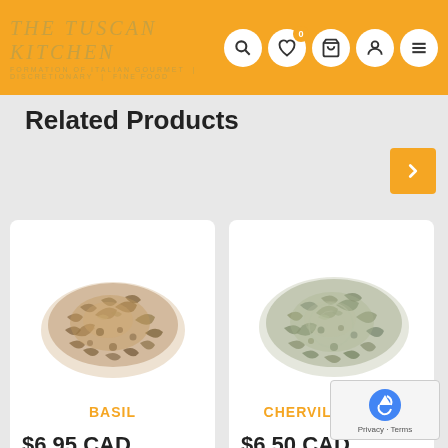THE TUSCAN KITCHEN —FORMATION OF ITALIAN GOURMET | DISCRETIONARY | FINE FOOD
Related Products
[Figure (photo): Dried basil herb pile on white background]
BASIL
$6.95 CAD
[Figure (photo): Dried chervil fancy herb pile on white background]
CHERVIL - FANCY
$6.50 CAD